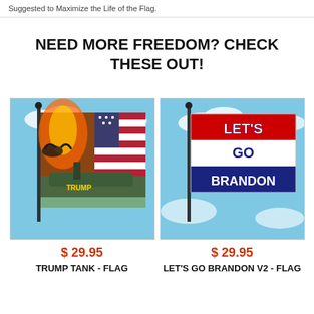Suggested to Maximize the Life of the Flag.
NEED MORE FREEDOM? CHECK THESE OUT!
[Figure (photo): Trump Tank flag on a pole against a blue sky background]
$ 29.95
TRUMP TANK - FLAG
[Figure (photo): Let's Go Brandon V2 flag on a pole against a blue sky background, with red, white, and blue horizontal stripes]
$ 29.95
LET'S GO BRANDON V2 - FLAG